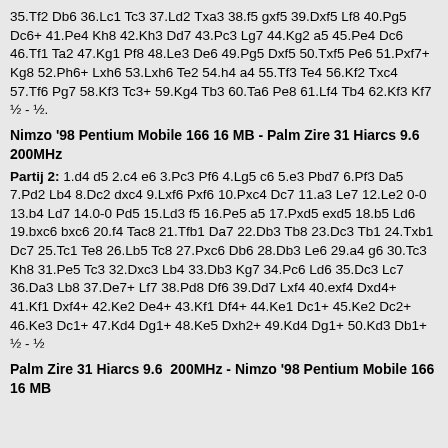35.Tf2 Db6 36.Lc1 Tc3 37.Ld2 Txa3 38.f5 gxf5 39.Dxf5 Lf8 40.Pg5 Dc6+ 41.Pe4 Kh8 42.Kh3 Dd7 43.Pc3 Lg7 44.Kg2 a5 45.Pe4 Dc6 46.Tf1 Ta2 47.Kg1 Pf8 48.Le3 De6 49.Pg5 Dxf5 50.Txf5 Pe6 51.Pxf7+ Kg8 52.Ph6+ Lxh6 53.Lxh6 Te2 54.h4 a4 55.Tf3 Te4 56.Kf2 Txc4 57.Tf6 Pg7 58.Kf3 Tc3+ 59.Kg4 Tb3 60.Ta6 Pe8 61.Lf4 Tb4 62.Kf3 Kf7  ½ - ½.
Nimzo '98 Pentium Mobile 166 16 MB - Palm Zire 31 Hiarcs 9.6  200MHz
Partij 2: 1.d4 d5 2.c4 e6 3.Pc3 Pf6 4.Lg5 c6 5.e3 Pbd7 6.Pf3 Da5 7.Pd2 Lb4 8.Dc2 dxc4 9.Lxf6 Pxf6 10.Pxc4 Dc7 11.a3 Le7 12.Le2 0-0 13.b4 Ld7 14.0-0 Pd5 15.Ld3 f5 16.Pe5 a5 17.Pxd5 exd5 18.b5 Ld6 19.bxc6 bxc6 20.f4 Tac8 21.Tfb1 Da7 22.Db3 Tb8 23.Dc3 Tb1 24.Txb1 Dc7 25.Tc1 Te8 26.Lb5 Tc8 27.Pxc6 Db6 28.Db3 Le6 29.a4 g6 30.Tc3 Kh8 31.Pe5 Tc3 32.Dxc3 Lb4 33.Db3 Kg7 34.Pc6 Ld6 35.Dc3 Lc7 36.Da3 Lb8 37.De7+ Lf7 38.Pd8 Df6 39.Dd7 Lxf4 40.exf4 Dxd4+ 41.Kf1 Dxf4+ 42.Ke2 De4+ 43.Kf1 Df4+ 44.Ke1 Dc1+ 45.Ke2 Dc2+ 46.Ke3 Dc1+ 47.Kd4 Dg1+ 48.Ke5 Dxh2+ 49.Kd4 Dg1+ 50.Kd3 Db1+  ½ - ½
Palm Zire 31 Hiarcs 9.6  200MHz - Nimzo '98 Pentium Mobile 166 16 MB